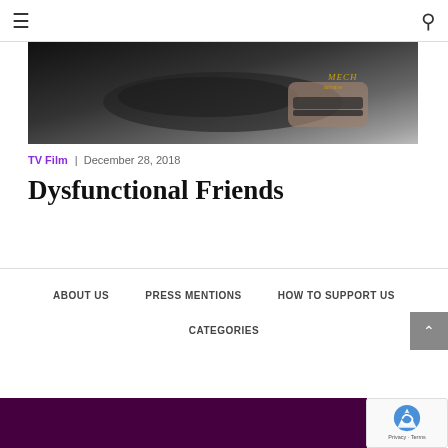≡  🔍
[Figure (photo): Dark background image showing a hand/wrist with bracelets holding something, with 'MECH' text watermark visible]
TV Film  |  December 28, 2018
Dysfunctional Friends
ABOUT US   PRESS MENTIONS   HOW TO SUPPORT US   CATEGORIES